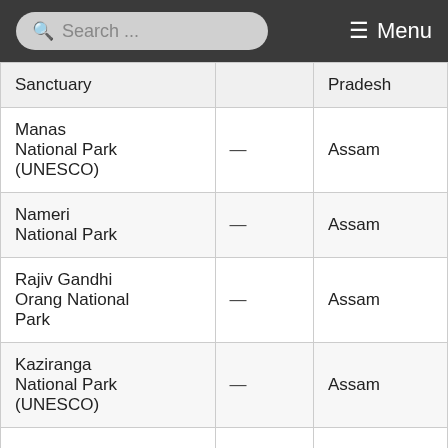Search ... Menu
| Name |  | State |
| --- | --- | --- |
| Sanctuary |  | Pradesh |
| Manas National Park (UNESCO) | — | Assam |
| Nameri National Park | — | Assam |
| Rajiv Gandhi Orang National Park | — | Assam |
| Kaziranga National Park (UNESCO) | — | Assam |